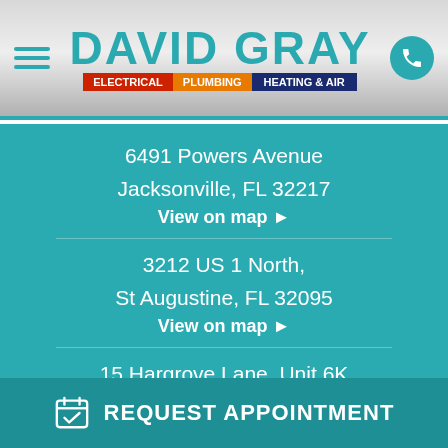David Gray — Electrical | Plumbing | Heating & Air
6491 Powers Avenue
Jacksonville, FL 32217
View on map ▶
3212 US 1 North,
St Augustine, FL 32095
View on map ▶
15 Hargrove Lane, Unit 6K
Palm Coast, FL 32137
View on map ▶
REQUEST APPOINTMENT